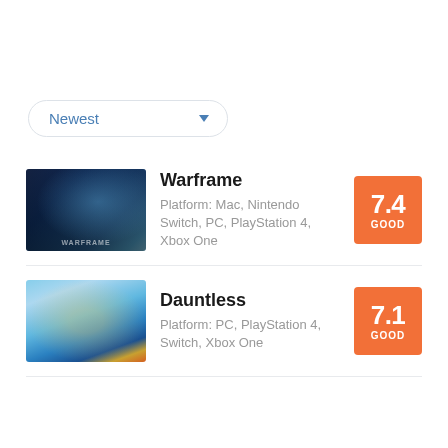Newest
Warframe
Platform: Mac, Nintendo Switch, PC, PlayStation 4, Xbox One
7.4 GOOD
Dauntless
Platform: PC, PlayStation 4, Switch, Xbox One
7.1 GOOD